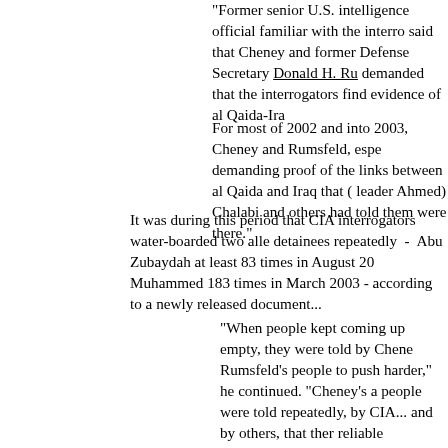"Former senior U.S. intelligence official familiar with the interro said that Cheney and former Defense Secretary Donald H. Ru demanded that the interrogators find evidence of al Qaida-Ira
For most of 2002 and into 2003, Cheney and Rumsfeld, espe demanding proof of the links between al Qaida and Iraq that ( leader Ahmed) Chalabi and others had told them were there."
It was during this period that CIA interrogators water-boarded two alle detainees repeatedly  -  Abu Zubaydah at least 83 times in August 20 Muhammed 183 times in March 2003 - according to a newly released document...
"When people kept coming up empty, they were told by Chene Rumsfeld's people to push harder," he continued. "Cheney's a people were told repeatedly, by CIA... and by others, that ther reliable intelligence that pointed to operational ties between bi Saddam..."
A former U.S. Army psychiatrist, Maj. Charles Burney, told Army inves interrogators at the Guantanamo Bay, Cuba, detention facility were u produce evidence of ties between al Qaida and Iraq.
"While we were there a large part of the time we were focused establish a link between al Qaida and Iraq and we were not su establishing a link between al Qaida and Iraq," Burney told sta Inspector General.
"The more frustrated people got in not being able to establish there was more and more pressure to resort to measures tha